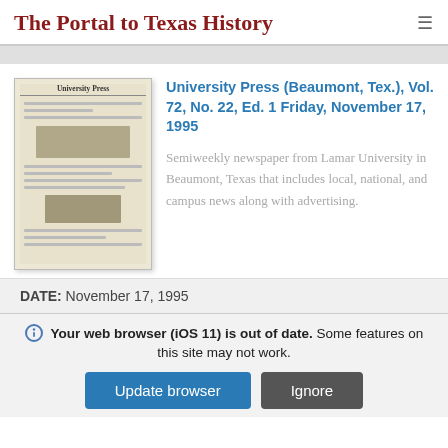The Portal to Texas History
[Figure (photo): Thumbnail image of the University Press newspaper front page, showing masthead 'University Press' and various article columns with a photograph]
University Press (Beaumont, Tex.), Vol. 72, No. 22, Ed. 1 Friday, November 17, 1995
Semiweekly newspaper from Lamar University in Beaumont, Texas that includes local, national, and campus news along with advertising.
DATE: November 17, 1995
Your web browser (iOS 11) is out of date. Some features on this site may not work.